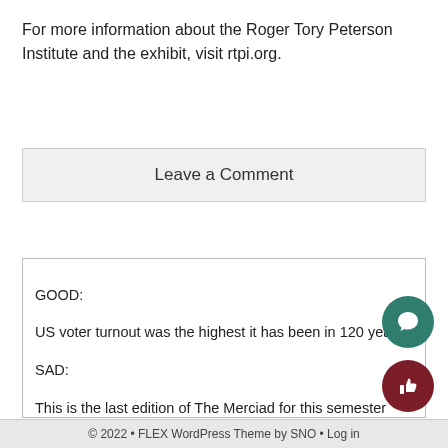For more information about the Roger Tory Peterson Institute and the exhibit, visit rtpi.org.
Leave a Comment
GOOD:
US voter turnout was the highest it has been in 120 years!
SAD:
This is the last edition of The Merciad for this semester
PRESIDENTIAL:
Joe Biden is officially the 46th president of the USA
© 2022 • FLEX WordPress Theme by SNO • Log in